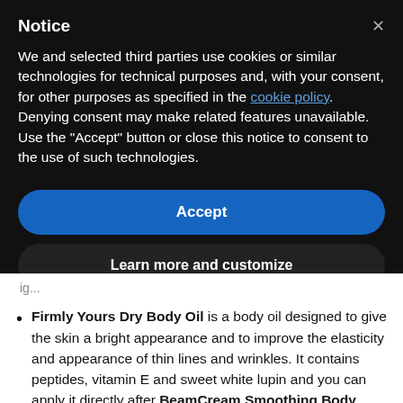Notice
We and selected third parties use cookies or similar technologies for technical purposes and, with your consent, for other purposes as specified in the cookie policy. Denying consent may make related features unavailable.
Use the “Accept” button or close this notice to consent to the use of such technologies.
Accept
Learn more and customize
Firmly Yours Dry Body Oil is a body oil designed to give the skin a bright appearance and to improve the elasticity and appearance of thin lines and wrinkles. It contains peptides, vitamin E and sweet white lupin and you can apply it directly after BeamCream Smoothing Body Moisturizer!